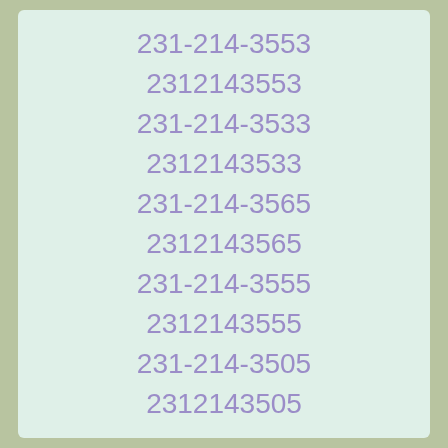231-214-3553
2312143553
231-214-3533
2312143533
231-214-3565
2312143565
231-214-3555
2312143555
231-214-3505
2312143505